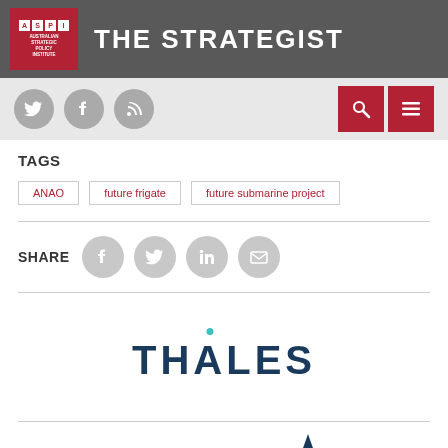THE STRATEGIST
TAGS
ANAO
future frigate
future submarine project
SHARE
[Figure (logo): Thales company logo in dark navy blue text with a teal dot above the letter A]
[Figure (logo): Lockheed Martin logo - partial text visible at bottom of page with star/arrow graphic element]